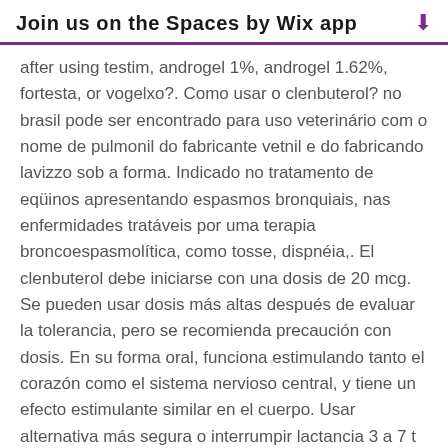Join us on the Spaces by Wix app
after using testim, androgel 1%, androgel 1.62%, fortesta, or vogelxo?. Como usar o clenbuterol? no brasil pode ser encontrado para uso veterinário com o nome de pulmonil do fabricante vetnil e do fabricando lavizzo sob a forma. Indicado no tratamento de eqüinos apresentando espasmos bronquiais, nas enfermidades tratáveis por uma terapia broncoespasmolítica, como tosse, dispnéia,. El clenbuterol debe iniciarse con una dosis de 20 mcg. Se pueden usar dosis más altas después de evaluar la tolerancia, pero se recomienda precaución con dosis. En su forma oral, funciona estimulando tanto el corazón como el sistema nervioso central, y tiene un efecto estimulante similar en el cuerpo. Usar alternativa más segura o interrumpir lactancia 3 a 7 t ½. Te contaré en detalle cómo tomar clenbuterol para perder peso y.